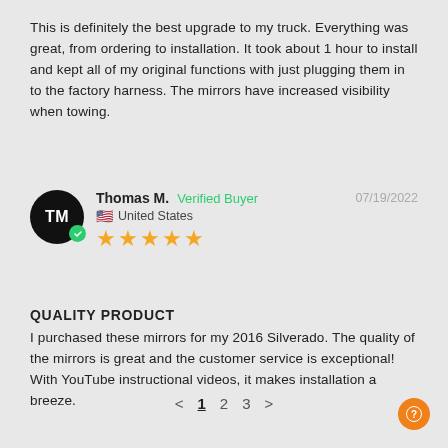This is definitely the best upgrade to my truck. Everything was great, from ordering to installation. It took about 1 hour to install and kept all of my original functions with just plugging them in to the factory harness. The mirrors have increased visibility when towing.
Thomas M. | Verified Buyer | 07/19/2022 | United States | ★★★★★
QUALITY PRODUCT
I purchased these mirrors for my 2016 Silverado. The quality of the mirrors is great and the customer service is exceptional! With YouTube instructional videos, it makes installation a breeze.
< 1 2 3 >